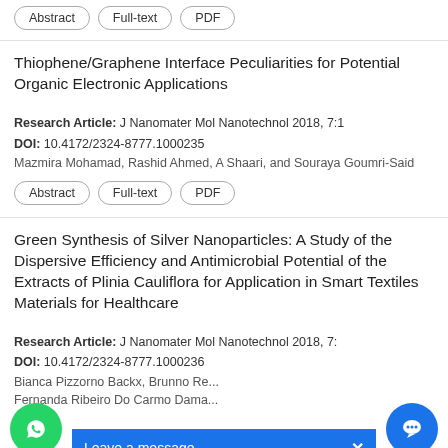Abstract | Full-text | PDF
Thiophene/Graphene Interface Peculiarities for Potential Organic Electronic Applications
Research Article: J Nanomater Mol Nanotechnol 2018, 7:1
DOI: 10.4172/2324-8777.1000235
Mazmira Mohamad, Rashid Ahmed, A Shaari, and Souraya Goumri-Said
Abstract | Full-text | PDF
Green Synthesis of Silver Nanoparticles: A Study of the Dispersive Efficiency and Antimicrobial Potential of the Extracts of Plinia Cauliflora for Application in Smart Textiles Materials for Healthcare
Research Article: J Nanomater Mol Nanotechnol 2018, 7:
DOI: 10.4172/2324-8777.1000236
Bianca Pizzorno Backx, Brunno Re... Fernanda Ribeiro Do Carmo Dama...